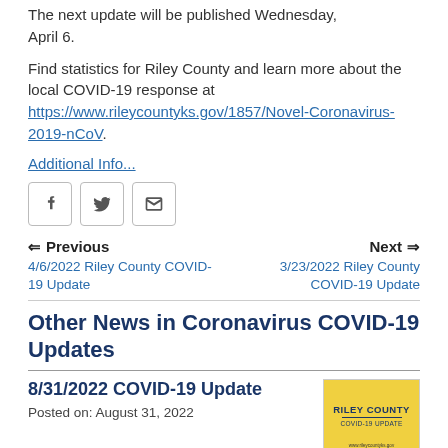The next update will be published Wednesday, April 6.
Find statistics for Riley County and learn more about the local COVID-19 response at https://www.rileycountyks.gov/1857/Novel-Coronavirus-2019-nCoV.
Additional Info...
[Figure (other): Social media sharing buttons: Facebook, Twitter, Email]
Previous
4/6/2022 Riley County COVID-19 Update
Next
3/23/2022 Riley County COVID-19 Update
Other News in Coronavirus COVID-19 Updates
8/31/2022 COVID-19 Update
Posted on: August 31, 2022
[Figure (other): Riley County COVID-19 Update thumbnail image with yellow background]